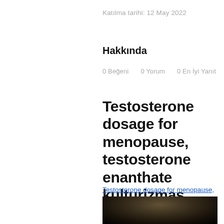Katılma tarihi: 12 May 2022
Hakkında
0 Beğeni    0 Yorum    0 En İyi Yanıt
Testosterone dosage for menopause, testosterone enanthate kulturizmas
Testosterone dosage for menopause, testosterone enanthate kulturizmas - Acheter des stéroïdes anabolisants légaux
[Figure (photo): Dark blurred image at the bottom of the page]